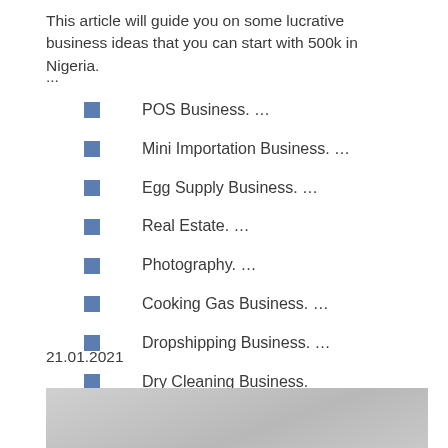This article will guide you on some lucrative business ideas that you can start with 500k in Nigeria.
...
POS Business. …
Mini Importation Business. …
Egg Supply Business. …
Real Estate. …
Photography. …
Cooking Gas Business. …
Dropshipping Business. …
Dry Cleaning Business.
21.01.2021
[Figure (photo): Gray/silver gradient background image placeholder at bottom of page]